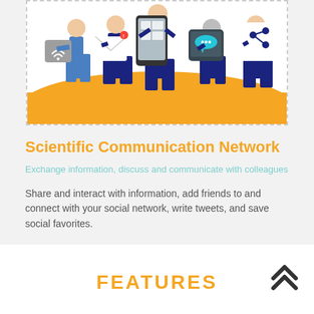[Figure (illustration): Illustration of people holding various communication devices (wifi, email, phone, chat, share icons) standing on an orange background shape]
Scientific Communication Network
Exchange information, discuss and communicate with colleagues
Share and interact with information, add friends to and connect with your social network, write tweets, and save social favorites.
FEATURES